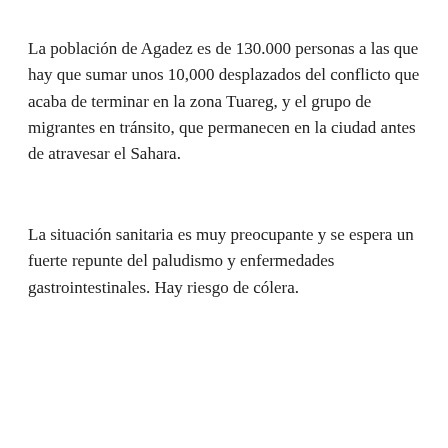La población de Agadez es de 130.000 personas a las que hay que sumar unos 10,000 desplazados del conflicto que acaba de terminar en la zona Tuareg, y el grupo de migrantes en tránsito, que permanecen en la ciudad antes de atravesar el Sahara.
La situación sanitaria es muy preocupante y se espera un fuerte repunte del paludismo y enfermedades gastrointestinales. Hay riesgo de cólera.